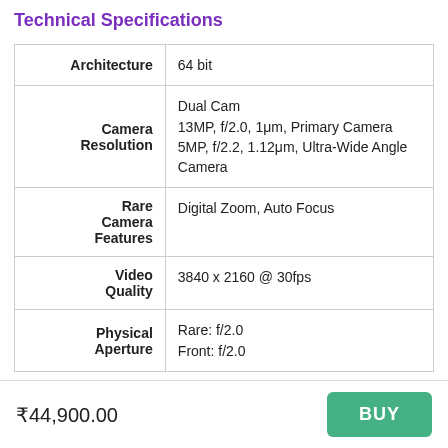Technical Specifications
| Specification | Value |
| --- | --- |
| Architecture | 64 bit |
| Camera Resolution | Dual Cam
13MP, f/2.0, 1μm, Primary Camera
5MP, f/2.2, 1.12μm, Ultra-Wide Angle Camera |
| Rare Camera Features | Digital Zoom, Auto Focus |
| Video Quality | 3840 x 2160 @ 30fps |
| Physical Aperture | Rare: f/2.0
Front: f/2.0 |
₹44,900.00
BUY